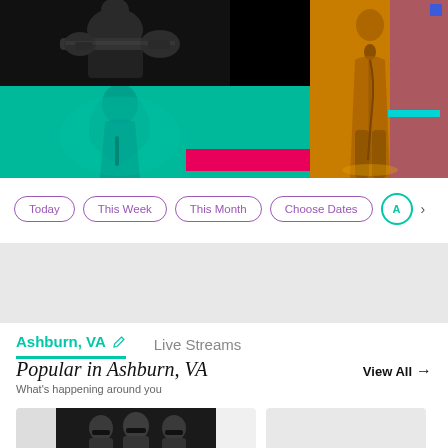[Figure (photo): Hero banner with concert/music performers: top-left shows black and white guitarist, bottom-left shows singer in teal/cyan tint, right side shows performer in yellow/amber tint with purple edge. Decorative colored rectangles (blue, pink/magenta, cyan) overlaid.]
Today
This Week
This Month
Choose Dates
Ashburn, VA [edit icon]
Live Streams
Popular in Ashburn, VA
What's happening around you
View All →
[Figure (photo): Black and white photo of music group (3 people wearing sunglasses)]
[Figure (photo): Gray placeholder card]